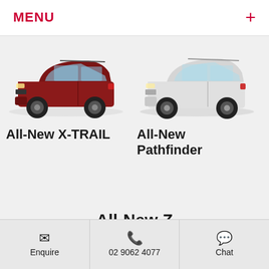MENU +
[Figure (illustration): Red SUV - All-New X-TRAIL side profile view]
All-New X-TRAIL
[Figure (illustration): White SUV - All-New Pathfinder side profile view]
All-New Pathfinder
All-New Z
Enquire | 02 9062 4077 | Chat